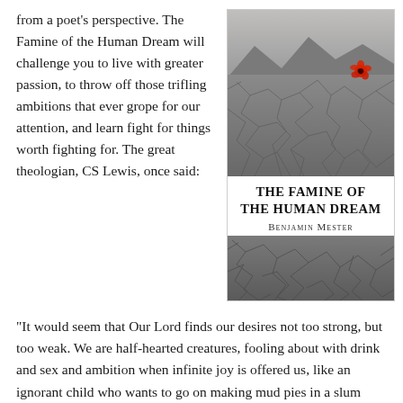from a poet's perspective. The Famine of the Human Dream will challenge you to live with greater passion, to throw off those trifling ambitions that ever grope for our attention, and learn fight for things worth fighting for. The great theologian, CS Lewis, once said:
[Figure (illustration): Book cover of 'The Famine of the Human Dream' by Benjamin Mester. Shows a cracked dry earth landscape in black and white with a single red poppy flower. Title text in bold serif caps, author name in small-caps below.]
“It would seem that Our Lord finds our desires not too strong, but too weak. We are half-hearted creatures, fooling about with drink and sex and ambition when infinite joy is offered us, like an ignorant child who wants to go on making mud pies in a slum because he cannot imagine what is meant by the offer of a holiday at the sea.